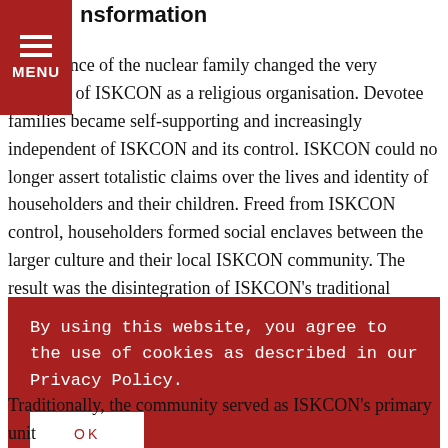nsformation
emergence of the nuclear family changed the very structure of ISKCON as a religious organisation. Devotee families became self-supporting and increasingly independent of ISKCON and its control. ISKCON could no longer assert totalistic claims over the lives and identity of householders and their children. Freed from ISKCON control, householders formed social enclaves between the larger culture and their local ISKCON community. The result was the disintegration of ISKCON's traditional communal structure. Having lost control over family life, and with it the majority of the
By using this website, you agree to the use of cookies as described in our Privacy Policy.

OK
Traditionally, the community served as ISKCON's primary unit